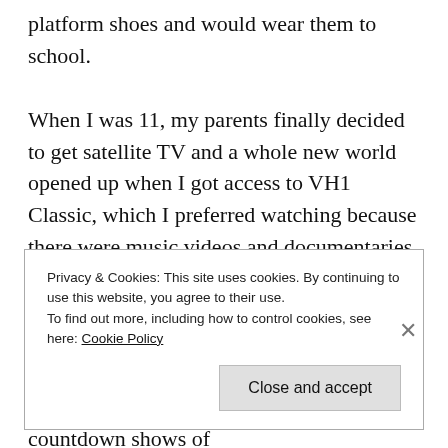platform shoes and would wear them to school.

When I was 11, my parents finally decided to get satellite TV and a whole new world opened up when I got access to VH1 Classic, which I preferred watching because there were music videos and documentaries. By the noughties, VH1 and MTV lost themselves and started showing dumb reality shows rather than music videos. I loved watching things like I Love The 70s, I Love The 80s, Pop Up Video, all their countdown shows of
Privacy & Cookies: This site uses cookies. By continuing to use this website, you agree to their use.
To find out more, including how to control cookies, see here: Cookie Policy
Close and accept